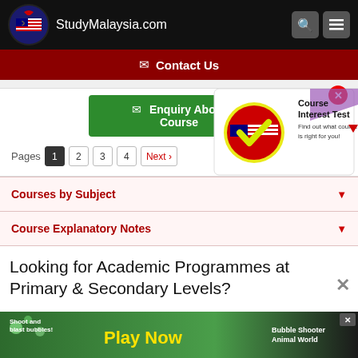StudyMalaysia.com
Contact Us
Enquiry About Course
Pages 1 2 3 4 Next ›
[Figure (infographic): Course Interest Test promotional banner with Malaysian flag checkmark logo, girl thinking, text: Course Interest Test - Find out what course is right for you!]
Courses by Subject
Course Explanatory Notes
Looking for Academic Programmes at Primary & Secondary Levels?
[Figure (screenshot): Advertisement banner: Shoot and blast bubbles! Play Now - Bubble Shooter Animal World game ad]